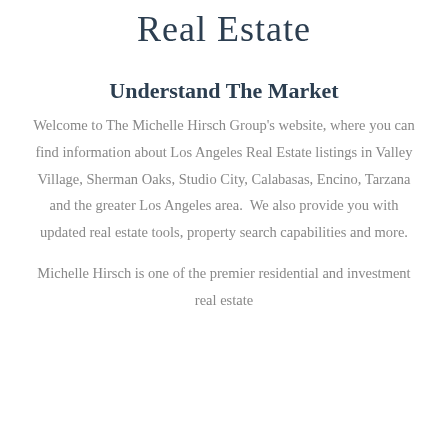Real Estate
Understand The Market
Welcome to The Michelle Hirsch Group's website, where you can find information about Los Angeles Real Estate listings in Valley Village, Sherman Oaks, Studio City, Calabasas, Encino, Tarzana and the greater Los Angeles area.  We also provide you with updated real estate tools, property search capabilities and more.
Michelle Hirsch is one of the premier residential and investment real estate